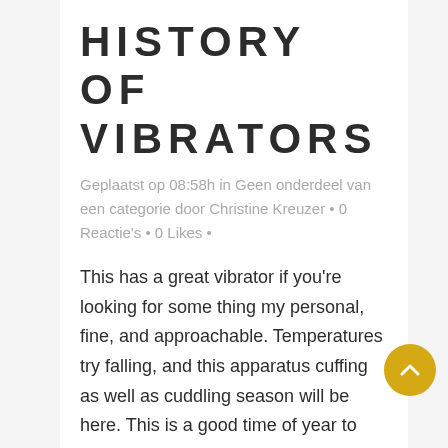HISTORY OF VIBRATORS
Geplaatst op 08:58h in Geen onderdeel van een categorie door Christine Kreuzer • 0 Reactie's • 0 Likes •
This has a great vibrator if you're looking for some thing my personal, fine, and approachable. Temperatures try falling, and this apparatus cuffing as well as cuddling season will be here. This is a good time of year to find interior relationships for all the some a lot more personal-good care. Here are a few individuals preferred adult